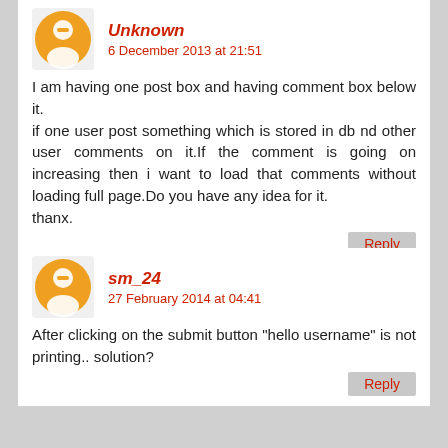Unknown
6 December 2013 at 21:51
I am having one post box and having comment box below it.
if one user post something which is stored in db nd other user comments on it.If the comment is going on increasing then i want to load that comments without loading full page.Do you have any idea for it.
thanx.
Reply
sm_24
27 February 2014 at 04:41
After clicking on the submit button "hello username" is not printing.. solution?
Reply